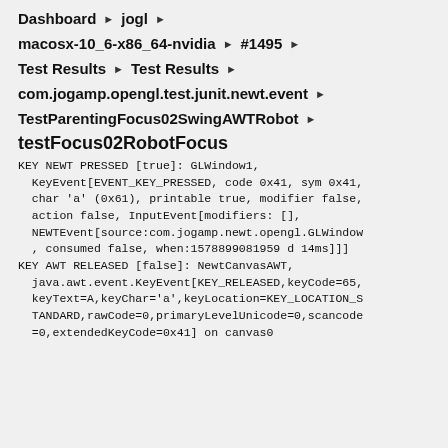Dashboard ▶ jogl ▶
macosx-10_6-x86_64-nvidia ▶ #1495 ▶
Test Results ▶ Test Results ▶
com.jogamp.opengl.test.junit.newt.event ▶
TestParentingFocus02SwingAWTRobot ▶
testFocus02RobotFocus
KEY NEWT PRESSED [true]: GLWindow1,
  KeyEvent[EVENT_KEY_PRESSED, code 0x41, sym 0x41,
  char 'a' (0x61), printable true, modifier false,
  action false, InputEvent[modifiers: [],
  NEWTEvent[source:com.jogamp.newt.opengl.GLWindow
  , consumed false, when:1578899081959 d 14ms]]]
KEY AWT RELEASED [false]: NewtCanvasAWT,
  java.awt.event.KeyEvent[KEY_RELEASED,keyCode=65,
  keyText=A,keyChar='a',keyLocation=KEY_LOCATION_S
  TANDARD,rawCode=0,primaryLevelUnicode=0,scancode
  =0,extendedKeyCode=0x41] on canvas0